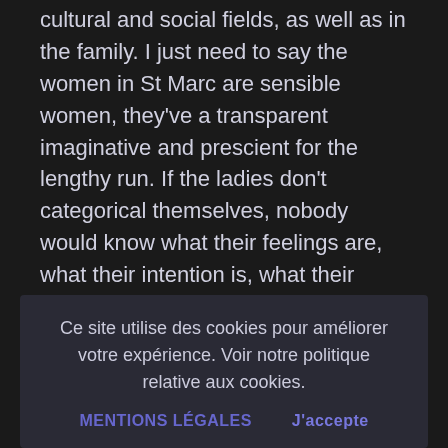cultural and social fields, as well as in the family. I just need to say the women in St Marc are sensible women, they've a transparent imaginative and prescient for the lengthy run. If the ladies don't categorical themselves, nobody would know what their feelings are, what their intention is, what their opinion concerning the world. So I simply encourage you to proceed to assist women's management.
Ce site utilise des cookies pour améliorer votre expérience. Voir notre politique relative aux cookies.
MENTIONS LÉGALES   J'accepte
leaders in St Marc had to adapt their